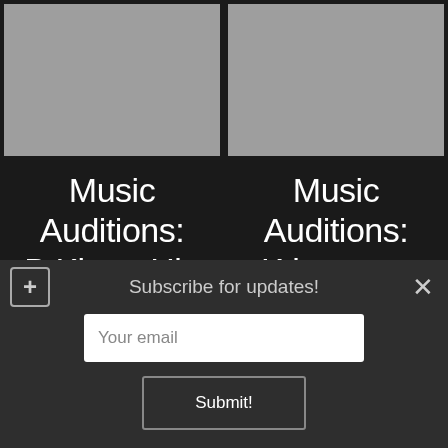[Figure (photo): Gray placeholder image, left column top]
[Figure (photo): Gray placeholder image, right column top]
Music Auditions: B.King - Hip Hop - Indiana, USA | Music
Music Auditions: K.breezy - Hip Hop - New York, USA | Music
Subscribe for updates!
Your email
Submit!